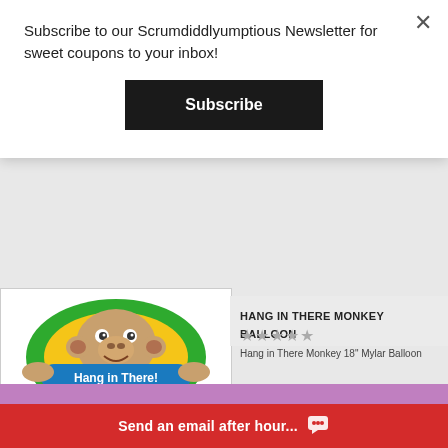[Figure (screenshot): Product page showing Hang in There Monkey balloon image with green and yellow balloon featuring a cartoon monkey]
HANG IN THERE MONKEY BALLOON
★★★★★
Hang in There Monkey 18" Mylar Balloon
$6.99
Send an email after hour...
Subscribe to our Scrumdiddlyumptious Newsletter for sweet coupons to your inbox!
Subscribe